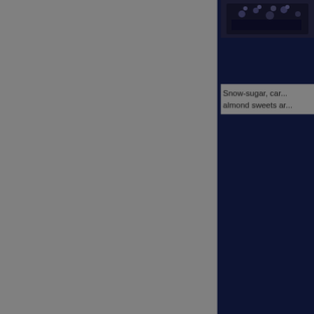[Figure (photo): Dark/navy framed photo at top right showing what appears to be a crowded or decorative scene]
Snow-sugar, car... almond sweets ar...
[Figure (illustration): Close/dismiss button icon — circle with X mark, overlaid on a broken image icon, centered on the gray left panel area]
[Figure (photo): Photo at bottom right showing a person in a patterned garment/dress on what appears to be a street or building exterior]